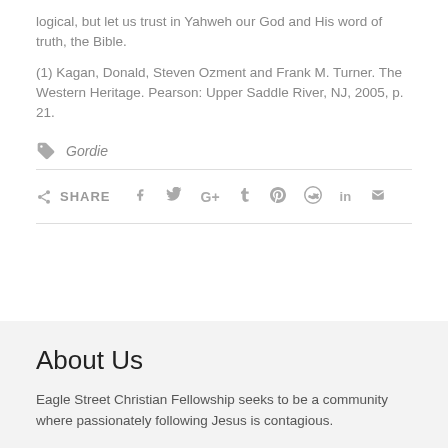logical, but let us trust in Yahweh our God and His word of truth, the Bible.
(1) Kagan, Donald, Steven Ozment and Frank M. Turner. The Western Heritage. Pearson: Upper Saddle River, NJ, 2005, p. 21.
Gordie
SHARE
About Us
Eagle Street Christian Fellowship seeks to be a community where passionately following Jesus is contagious.